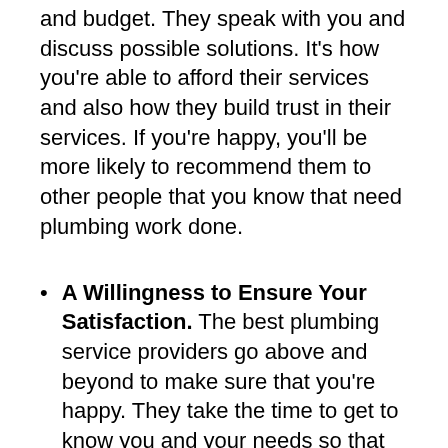and budget. They speak with you and discuss possible solutions. It's how you're able to afford their services and also how they build trust in their services. If you're happy, you'll be more likely to recommend them to other people that you know that need plumbing work done.
A Willingness to Ensure Your Satisfaction. The best plumbing service providers go above and beyond to make sure that you're happy. They take the time to get to know you and your needs so that they can assist you in a way that you feel good about. When you have a plumber that you trust, you'll give them the business they deserve. You'll also tell